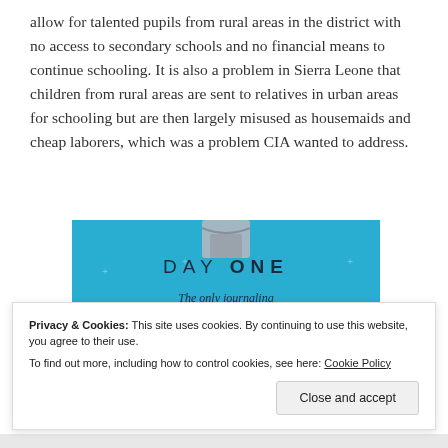allow for talented pupils from rural areas in the district with no access to secondary schools and no financial means to continue schooling. It is also a problem in Sierra Leone that children from rural areas are sent to relatives in urban areas for schooling but are then largely misused as housemaids and cheap laborers, which was a problem CIA wanted to address.
[Figure (illustration): DAY ONE app advertisement banner on a blue background with small star/plus decorations. Features a t-shirt icon at top, large text 'DAY ONE', italic subtitle 'The only journaling app you'll ever need.', and a dark blue 'Get the app' button.]
Privacy & Cookies: This site uses cookies. By continuing to use this website, you agree to their use. To find out more, including how to control cookies, see here: Cookie Policy